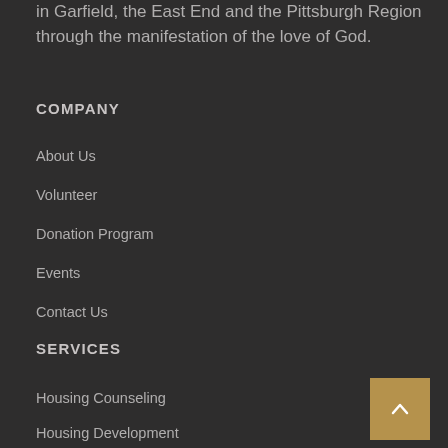in Garfield, the East End and the Pittsburgh Region through the manifestation of the love of God.
COMPANY
About Us
Volunteer
Donation Program
Events
Contact Us
SERVICES
Housing Counseling
Housing Development
[Figure (other): Scroll-to-top button: a tan/gold square with an upward-pointing chevron arrow]